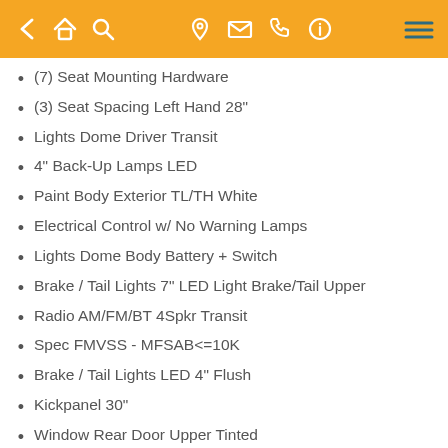Navigation toolbar with back, home, search, location, mail, phone, info icons and menu
(7) Seat Mounting Hardware
(3) Seat Spacing Left Hand 28"
Lights Dome Driver Transit
4" Back-Up Lamps LED
Paint Body Exterior TL/TH White
Electrical Control w/ No Warning Lamps
Lights Dome Body Battery + Switch
Brake / Tail Lights 7" LED Light Brake/Tail Upper
Radio AM/FM/BT 4Spkr Transit
Spec FMVSS - MFSAB<=10K
Brake / Tail Lights LED 4" Flush
Kickpanel 30"
Window Rear Door Upper Tinted
Heavy Duty Undercoating
Battery OEM Location Transit
Ext. Skirt Tl/H 400 No Box Steel
(4) Seat Spacing RH 27in Hip Knee